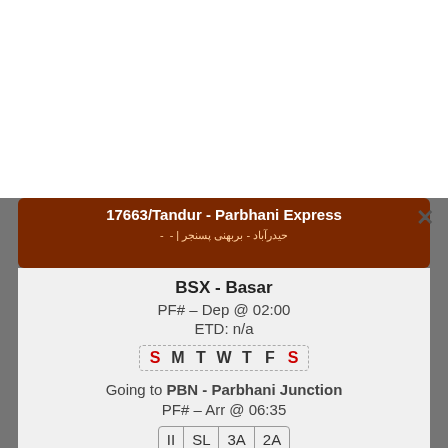17663/Tandur - Parbhani Express
BSX - Basar
PF# – Dep @ 02:00
ETD: n/a
S M T W T F S
Going to PBN - Parbhani Junction
PF# – Arr @ 06:35
II SL 3A 2A
Dep Time Changed. Arr Time Changed. Speeded up by: 22m. Src Changed.
TT Updated: Apr 05 (14:09) by 457643/17017
17019/Jaipur - Hyderabad Weekly Express (PT)